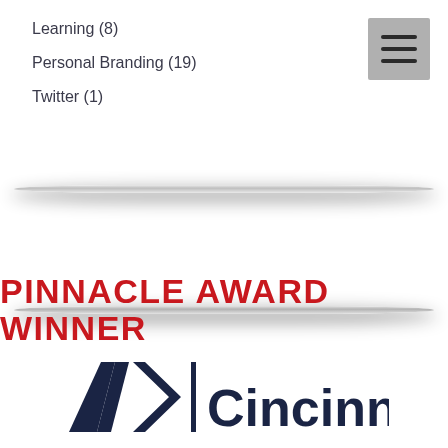Learning (8)
Personal Branding (19)
Twitter (1)
[Figure (other): Hamburger menu button icon (three horizontal lines on grey background)]
[Figure (other): Horizontal divider line with drop shadow (top)]
[Figure (other): Horizontal divider line with drop shadow (bottom)]
[Figure (logo): Pinnacle Award Winner badge with AMA Cincinnati logo. Red bold text 'PINNACLE AWARD WINNER' above dark navy AMA> | Cincinnati logo.]